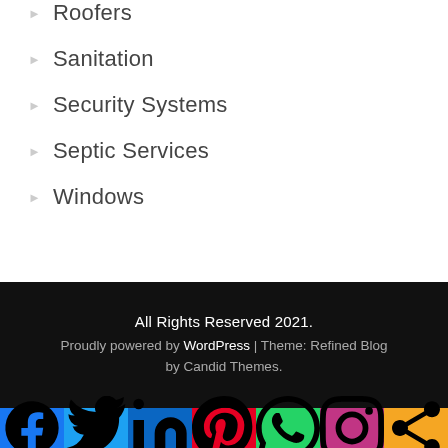Roofers
Sanitation
Security Systems
Septic Services
Windows
All Rights Reserved 2021. Proudly powered by WordPress | Theme: Refined Blog by Candid Themes.